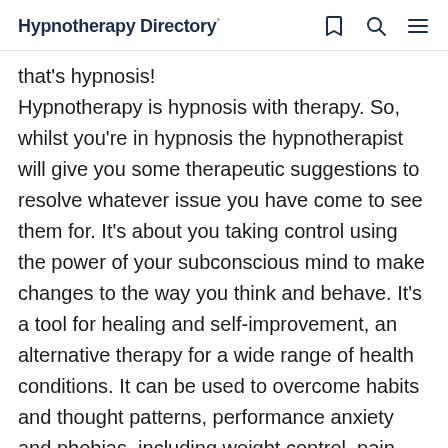Hypnotherapy Directory
that's hypnosis! Hypnotherapy is hypnosis with therapy. So, whilst you're in hypnosis the hypnotherapist will give you some therapeutic suggestions to resolve whatever issue you have come to see them for. It's about you taking control using the power of your subconscious mind to make changes to the way you think and behave. It's a tool for healing and self-improvement, an alternative therapy for a wide range of health conditions. It can be used to overcome habits and thought patterns, performance anxiety and phobias, including weight control, pain management and smoking cessation, motivation, relaxation, stress